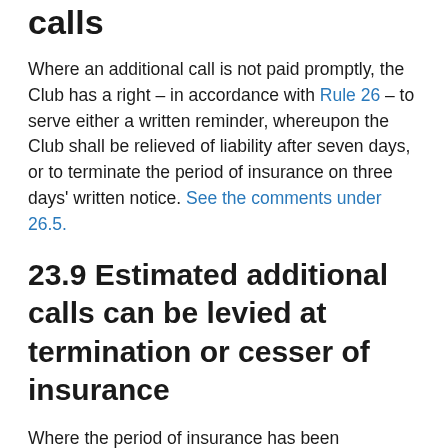calls
Where an additional call is not paid promptly, the Club has a right – in accordance with Rule 26 – to serve either a written reminder, whereupon the Club shall be relieved of liability after seven days, or to terminate the period of insurance on three days' written notice. See the comments under 26.5.
23.9 Estimated additional calls can be levied at termination or cesser of insurance
Where the period of insurance has been terminated under Rule 26 or has ceased under Rule 27, there may still be one or more policy years which have not been declared as closed